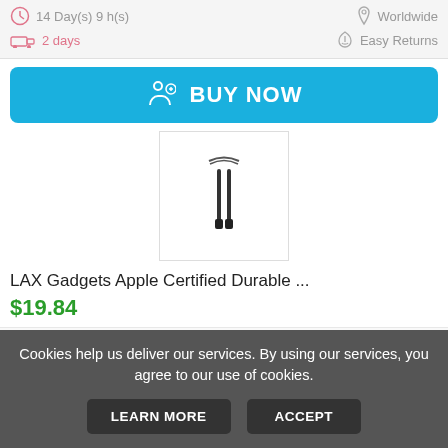14 Day(s) 9 h(s)
Worldwide
2 days
Easy Returns
BUY NOW
[Figure (photo): Product image of LAX Gadgets Apple Certified Durable cable, showing two black cables]
LAX Gadgets Apple Certified Durable ...
$19.84
Buy Now
New
Cookies help us deliver our services. By using our services, you agree to our use of cookies.
LEARN MORE
ACCEPT